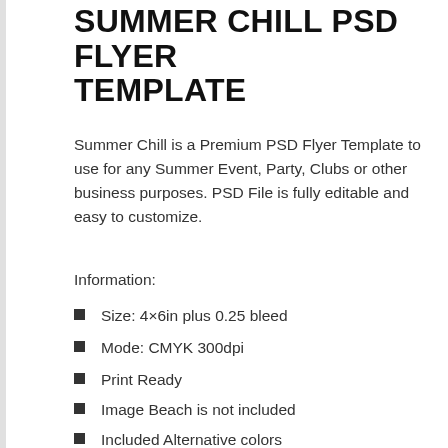SUMMER CHILL PSD FLYER TEMPLATE
Summer Chill is a Premium PSD Flyer Template to use for any Summer Event, Party, Clubs or other business purposes. PSD File is fully editable and easy to customize.
Information:
Size: 4×6in plus 0.25 bleed
Mode: CMYK 300dpi
Print Ready
Image Beach is not included
Included Alternative colors
[Figure (illustration): Preview of the Summer Chill PSD flyer showing YOURCLUB PRESENTS: text on left and 22 JULY, 2017 in red/black on right, with a beach/palm tree background image]